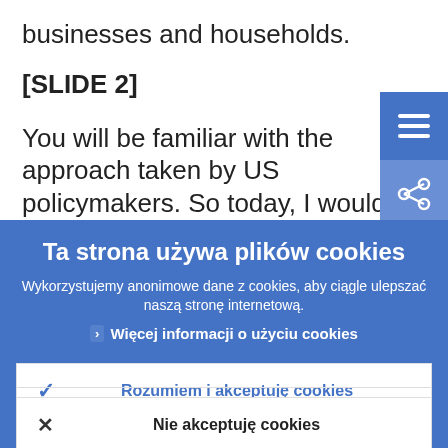businesses and households.
[SLIDE 2]
You will be familiar with the approach taken by US policymakers. So today, I would like
[Figure (screenshot): Cookie consent overlay banner in Polish with blue background. Title: 'Ta strona używa plików cookies'. Description text: 'Wykorzystujemy anonimowe dane z cookies, aby ciągle ulepszać naszą stronę internetową.' Link: 'Więcej informacji o użyciu cookies'. Two buttons: 'Rozumiem i akceptuję cookies' (accept) and 'Nie akceptuję cookies' (reject).]